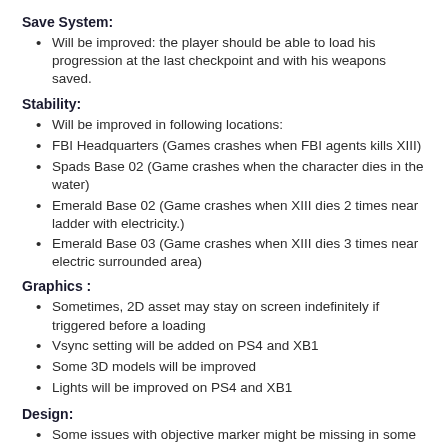Save System:
Will be improved: the player should be able to load his progression at the last checkpoint and with his weapons saved.
Stability:
Will be improved in following locations:
FBI Headquarters (Games crashes when FBI agents kills XIII)
Spads Base 02 (Game crashes when the character dies in the water)
Emerald Base 02 (Game crashes when XIII dies 2 times near ladder with electricity.)
Emerald Base 03 (Game crashes when XIII dies 3 times near electric surrounded area)
Graphics :
Sometimes, 2D asset may stay on screen indefinitely if triggered before a loading
Vsync setting will be added on PS4 and XB1
Some 3D models will be improved
Lights will be improved on PS4 and XB1
Design:
Some issues with objective marker might be missing in some levels or stay active even though you finished the objective.
“Finish Him” achievement – There are currently issues to unlock